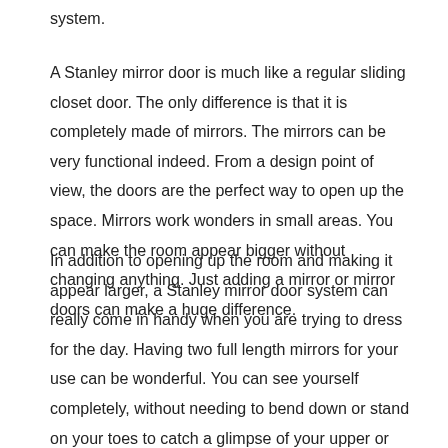system.
A Stanley mirror door is much like a regular sliding closet door. The only difference is that it is completely made of mirrors. The mirrors can be very functional indeed. From a design point of view, the doors are the perfect way to open up the space. Mirrors work wonders in small areas. You can make the room appear bigger without changing anything. Just adding a mirror or mirror doors can make a huge difference.
In addition to opening up the room and making it appear larger, a Stanley mirror door system can really come in handy when you are trying to dress for the day. Having two full length mirrors for your use can be wonderful. You can see yourself completely, without needing to bend down or stand on your toes to catch a glimpse of your upper or lower half. Instead of trucking to the bathroom for a full view, you won't even have to leave your room. This is perfect for a woman or a teenager who really needs to check out their total